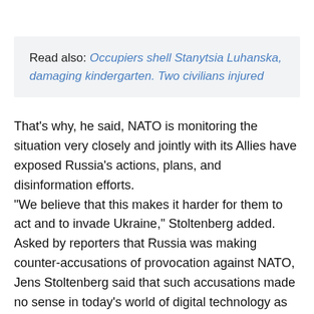Read also: Occupiers shell Stanytsia Luhanska, damaging kindergarten. Two civilians injured
That's why, he said, NATO is monitoring the situation very closely and jointly with its Allies have exposed Russia's actions, plans, and disinformation efforts.
"We believe that this makes it harder for them to act and to invade Ukraine," Stoltenberg added.
Asked by reporters that Russia was making counter-accusations of provocation against NATO, Jens Stoltenberg said that such accusations made no sense in today's world of digital technology as any action was monitored not only by intelligence but also by